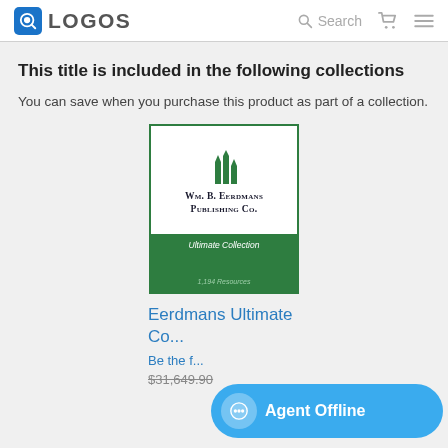LOGOS — Search
This title is included in the following collections
You can save when you purchase this product as part of a collection.
[Figure (logo): Wm. B. Eerdmans Publishing Co. Ultimate Collection — 1,194 Resources book cover with green border and green band]
Eerdmans Ultimate Co...
Be the f...
$31,649.90
Agent Offline